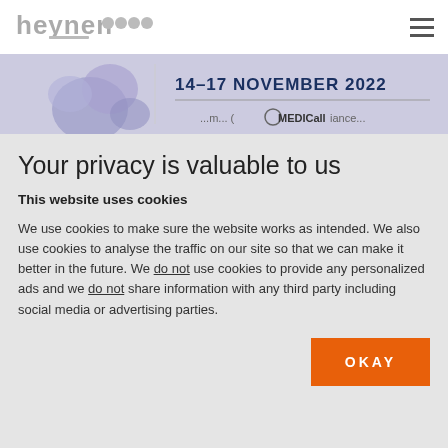heynen oooo
[Figure (other): Banner image with date 14-17 NOVEMBER 2022 and purple crystal/gem graphic on left, partially visible website banner]
Your privacy is valuable to us
This website uses cookies
We use cookies to make sure the website works as intended. We also use cookies to analyse the traffic on our site so that we can make it better in the future. We do not use cookies to provide any personalized ads and we do not share information with any third party including social media or advertising parties.